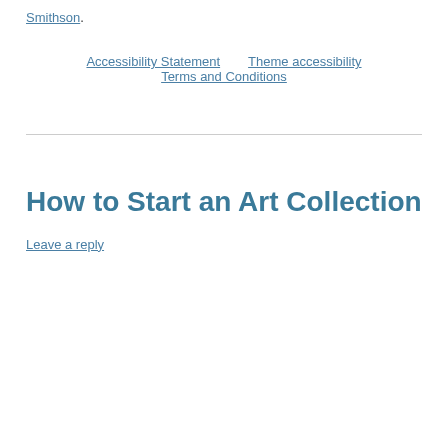Smithson.
Accessibility Statement   Theme accessibility   Terms and Conditions
How to Start an Art Collection
Leave a reply